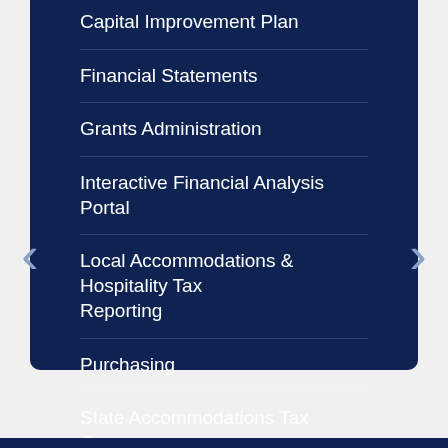Capital Improvement Plan
Financial Statements
Grants Administration
Interactive Financial Analysis Portal
Local Accommodations & Hospitality Tax Reporting
Purchasing
State Accommodations Tax Grants